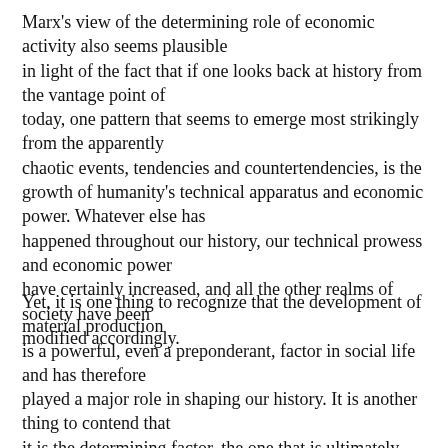Marx's view of the determining role of economic activity also seems plausible in light of the fact that if one looks back at history from the vantage point of today, one pattern that seems to emerge most strikingly from the apparently chaotic events, tendencies and countertendencies, is the growth of humanity's technical apparatus and economic power. Whatever else has happened throughout our history, our technical prowess and economic power have certainly increased, and all the other realms of society have been modified accordingly.
Yet, it is one thing to recognize that the development of material production is a powerful, even a preponderant, factor in social life and has therefore played a major role in shaping our history. It is another thing to contend that it is the determining factor, the one that is ultimately responsible for the character and evolution of all the other spheres of society and